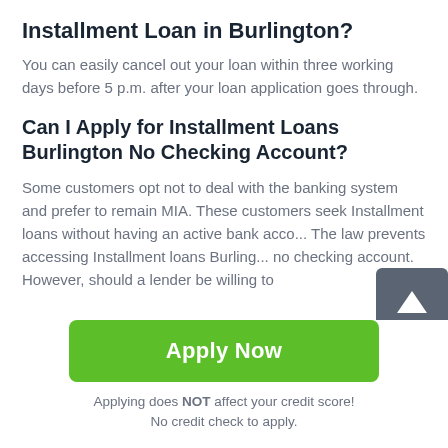Installment Loan in Burlington?
You can easily cancel out your loan within three working days before 5 p.m. after your loan application goes through.
Can I Apply for Installment Loans Burlington No Checking Account?
Some customers opt not to deal with the banking system and prefer to remain MIA. These customers seek Installment loans without having an active bank acco... The law prevents accessing Installment loans Burling... no checking account. However, should a lender be willing to
[Figure (other): Scroll-to-top button with upward arrow icon, grey background]
Apply Now
Applying does NOT affect your credit score!
No credit check to apply.